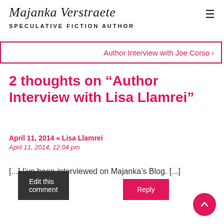Majanka Verstraete — SPECULATIVE FICTION AUTHOR
Author Interview with Joe Corso >
2 thoughts on “Author Interview with Lisa Llamrei”
April 11, 2014 « Lisa Llamrei
April 11, 2014, 12:04 pm
[...] I’ve been interviewed on Majanka’s Blog. [...]
Edit this comment   Reply